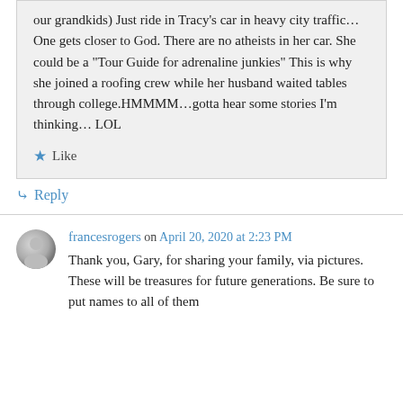our grandkids) Just ride in Tracy's car in heavy city traffic…One gets closer to God. There are no atheists in her car. She could be a "Tour Guide for adrenaline junkies" This is why she joined a roofing crew while her husband waited tables through college.HMMMM…gotta hear some stories I'm thinking… LOL
★ Like
↳ Reply
francesrogers on April 20, 2020 at 2:23 PM
Thank you, Gary, for sharing your family, via pictures. These will be treasures for future generations. Be sure to put names to all of them